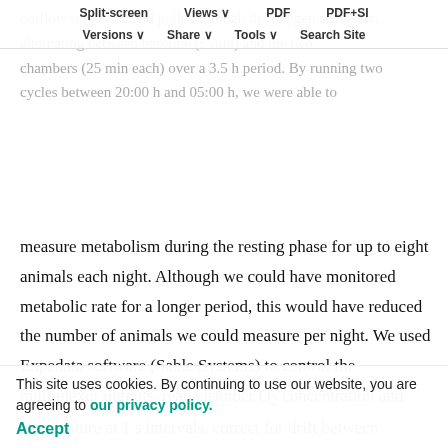outflow was dried and pulled through the oxygen analysers, alternating between baseline (5 min) and the two chambers (25 min each) over a 3.5 h period. By running two cycles between 20:00 h and 05:00 h, we were able to
Split-screen   Views   PDF   PDF+SI   Versions   Share   Tools   Search Site
measure metabolism during the resting phase for up to eight animals each night. Although we could have monitored metabolic rate for a longer period, this would have reduced the number of animals we could measure per night. We used Expedata software (Sable Systems) to control the multiplexor outputs, read chamber O₂ concentration and temperature at 1 s intervals, correct for drift between consecutive baseline measurements, and calculate individual O₂ consumption according to eqn 4a of
This site uses cookies. By continuing to use our website, you are agreeing to our privacy policy.
Accept
exchange ratio of 0.8 (not post-absorptive) to calculate O₂